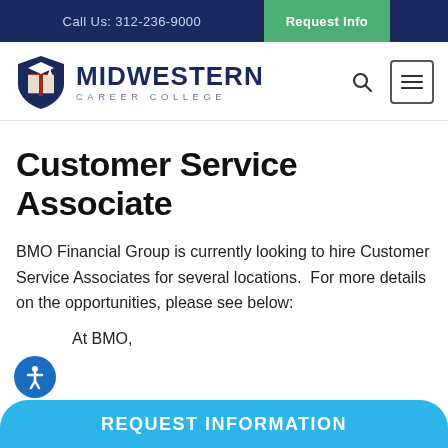Call Us: 312-236-9000 | Request Info
[Figure (logo): Midwestern Career College logo with shield icon containing graduation cap and book, and text MIDWESTERN CAREER COLLEGE]
Customer Service Associate
BMO Financial Group is currently looking to hire Customer Service Associates for several locations.  For more details on the opportunities, please see below:
At BMO,